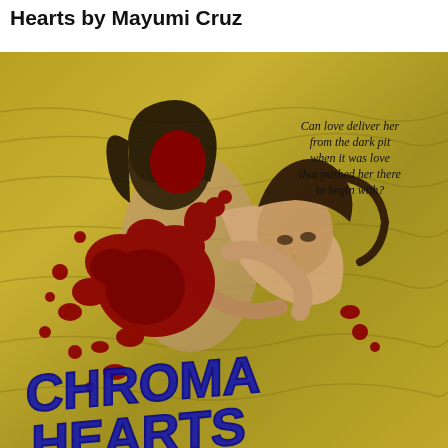Hearts by Mayumi Cruz
[Figure (illustration): Book cover of 'Chroma Hearts' by Mayumi Cruz. Two people embracing in golden/olive water. Red blood splatter overlaid. Blue graffiti-style text reading 'CHROMA HEARTS' partially visible at bottom. Tagline reads: 'Can love deliver her from the dark pit when it was love that pushed her there to begin with?']
Can love deliver her from the dark pit when it was love that pushed her there to begin with?